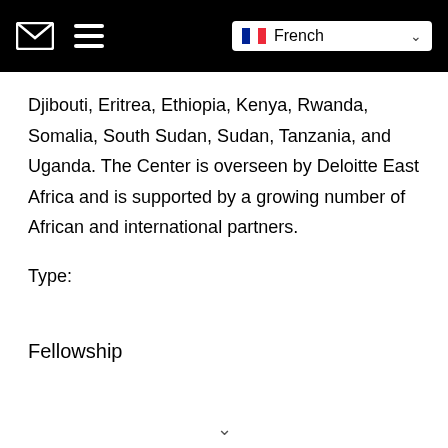Navigation bar with envelope icon, hamburger menu, and French language selector
Djibouti, Eritrea, Ethiopia, Kenya, Rwanda, Somalia, South Sudan, Sudan, Tanzania, and Uganda. The Center is overseen by Deloitte East Africa and is supported by a growing number of African and international partners.
Type:
Fellowship